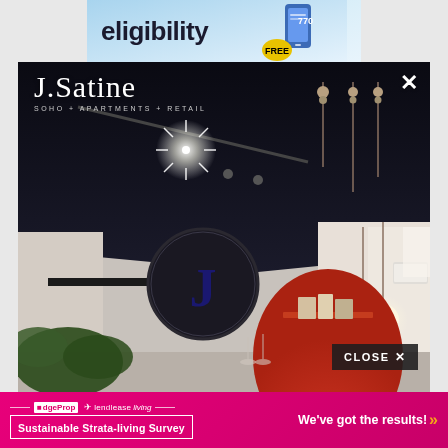[Figure (screenshot): Top banner advertisement with text 'eligibility' in bold dark text on light blue background, with a phone graphic and FREE badge]
[Figure (photo): Modal popup for J.Satine apartment/retail brand showing interior photo of a stylish space with dark ceiling, track lighting, pendant lights, a circular J sign, and red arch decor. Logo 'J.Satine SOHO + APARTMENTS + RETAIL' in top left, X close button top right, CLOSE button near bottom right]
[Figure (screenshot): Bottom banner for EdgeProp and Lendlease Living 'Sustainable Strata-living Survey' with 'We've got the results!' text and orange chevrons on pink/magenta background]